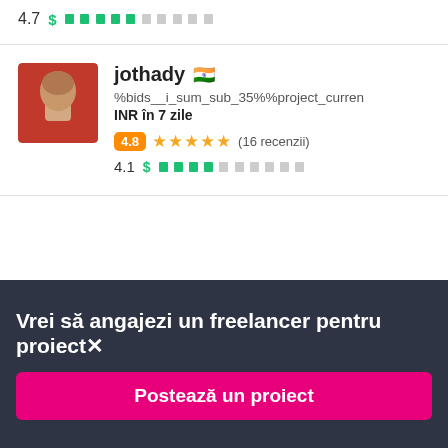4.7  $ ████░░░░░░
[Figure (photo): Profile photo of freelancer jothady, man in red shirt]
jothady 🇮🇳
%bids__i_sum_sub_35%%project_currencyD
INR în 7 zile
4.8 ★★★★★ (16 recenzii)
4.1  $ ████░░░░░░
Vrei să angajezi un freelancer pentru proiect✕
Postează un proiect